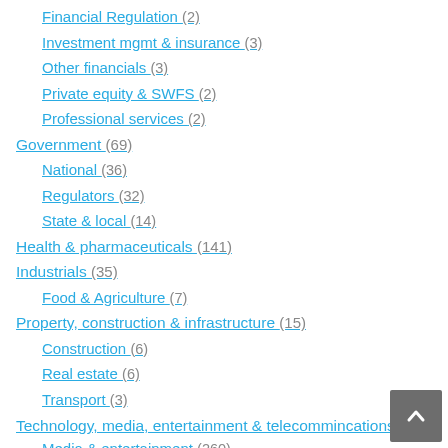Financial Regulation (2)
Investment mgmt & insurance (3)
Other financials (3)
Private equity & SWFS (2)
Professional services (2)
Government (69)
National (36)
Regulators (32)
State & local (14)
Health & pharmaceuticals (141)
Industrials (35)
Food & Agriculture (7)
Property, construction & infrastructure (15)
Construction (6)
Real estate (6)
Transport (3)
Technology, media, entertainment & telecommincations (399)
Media & entertainment (260)
Technology (139)
Telecoms (39)